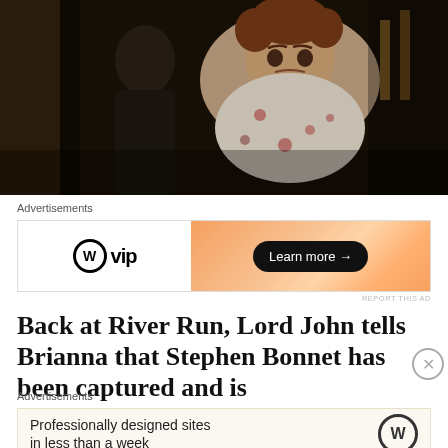[Figure (photo): A woman in a floral blouse with an anxious expression, set in a dark period-drama interior scene, with a man visible in the background.]
Advertisements
[Figure (illustration): WordPress VIP advertisement banner with orange gradient background and 'Learn more →' button.]
REPORT THIS AD
Back at River Run, Lord John tells Brianna that Stephen Bonnet has been captured and is
Advertisements
[Figure (illustration): WordPress advertisement with light yellow background reading 'Professionally designed sites in less than a week' with WordPress logo.]